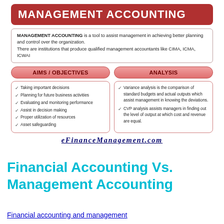[Figure (infographic): Management Accounting infographic with red title banner, definition box, two-column aims/objectives and analysis sections, and website footer]
Financial Accounting Vs. Management Accounting
Financial accounting and management